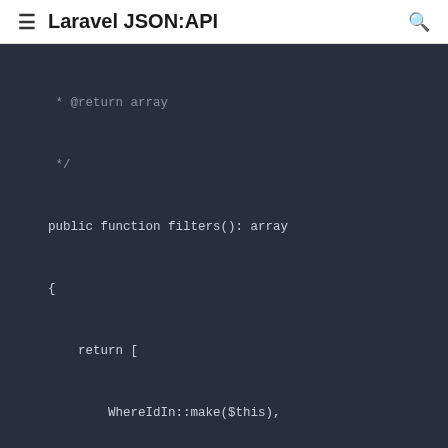Laravel JSON:API
[Figure (screenshot): PHP code snippet showing filters() and pagination() methods with diff highlighting. Code includes WhereIdIn::make($this) and WhereIn::make('author', 'author...') in filters(), and pagination() returning ?Paginator. Added line marked with + in green.]